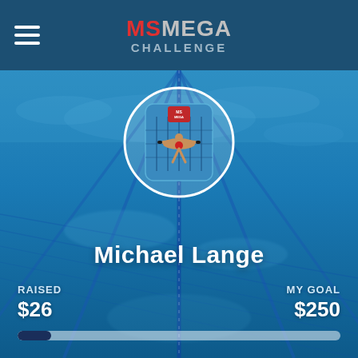MS MEGA CHALLENGE
[Figure (photo): Underwater view of a swimming pool with lane lines, blue water, light refractions on the bottom]
[Figure (illustration): Circular avatar badge showing a swimmer figure in a pool layout graphic with MS Mega Challenge logo in center]
Michael Lange
RAISED $26
MY GOAL $250
[Figure (infographic): Progress bar showing $26 raised of $250 goal, approximately 10% filled in dark blue]